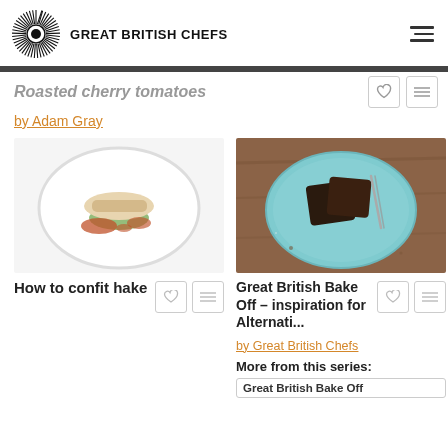GREAT BRITISH CHEFS
Roasted cherry tomatoes
by Adam Gray
[Figure (photo): A white bowl containing a pan-fried fish fillet on top of green vegetables with a tomato-based sauce]
How to confit hake
[Figure (photo): A light blue ceramic plate on a wooden table with two slices of dark chocolate brownie/cake and a fork]
Great British Bake Off – inspiration for Alternati...
by Great British Chefs
More from this series:
Great British Bake Off